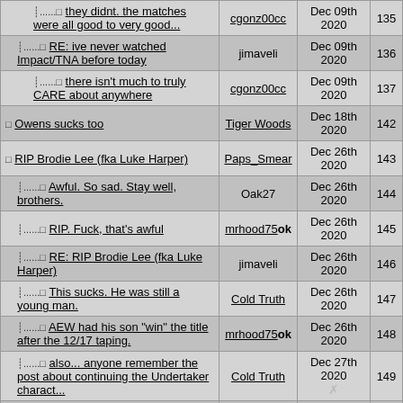| Topic | Author | Date | # |
| --- | --- | --- | --- |
| they didnt. the matches were all good to very good... | cgonz00cc | Dec 09th 2020 | 135 |
| RE: ive never watched Impact/TNA before today | jimaveli | Dec 09th 2020 | 136 |
| there isn't much to truly CARE about anywhere | cgonz00cc | Dec 09th 2020 | 137 |
| Owens sucks too | Tiger Woods | Dec 18th 2020 | 142 |
| RIP Brodie Lee (fka Luke Harper) | Paps_Smear | Dec 26th 2020 | 143 |
| Awful. So sad. Stay well, brothers. | Oak27 | Dec 26th 2020 | 144 |
| RIP. Fuck, that's awful | mrhood75 ok | Dec 26th 2020 | 145 |
| RE: RIP Brodie Lee (fka Luke Harper) | jimaveli | Dec 26th 2020 | 146 |
| This sucks. He was still a young man. | Cold Truth | Dec 26th 2020 | 147 |
| AEW had his son "win" the title after the 12/17 taping. | mrhood75 ok | Dec 26th 2020 | 148 |
| also... anyone remember the post about continuing the Undertaker charact... | Cold Truth | Dec 27th 2020 | 149 |
| I won't front. I... | mrhood75 ok | Dec 27th 2020 | 150 |